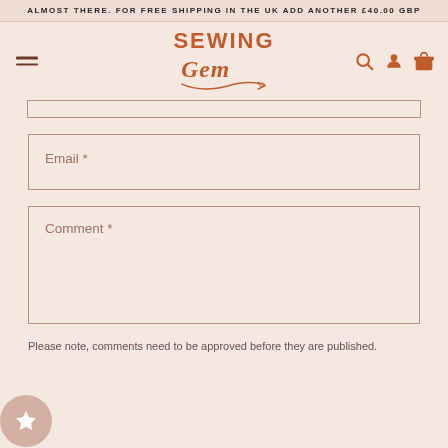ALMOST THERE. FOR FREE SHIPPING IN THE UK ADD ANOTHER £40.00 GBP
[Figure (logo): Sewing Gem logo with cursive script and needle illustration in terracotta/rust color]
Email *
Comment *
Please note, comments need to be approved before they are published.